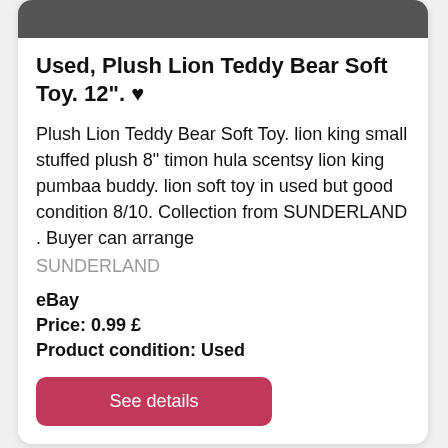[Figure (photo): Partial image of a plush lion teddy bear soft toy, cropped at the top of the card]
Used, Plush Lion Teddy Bear Soft Toy. 12". ♥
Plush Lion Teddy Bear Soft Toy. lion king small stuffed plush 8" timon hula scentsy lion king pumbaa buddy. lion soft toy in used but good condition 8/10. Collection from SUNDERLAND . Buyer can arrange
SUNDERLAND
eBay
Price: 0.99 £
Product condition: Used
See details